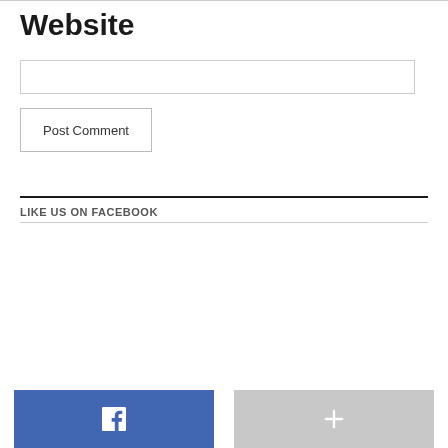Website
Post Comment
LIKE US ON FACEBOOK
[Figure (other): Facebook like button (blue with white f icon) and a gray plus button side by side at the bottom of the page]